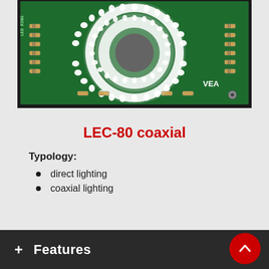[Figure (photo): Close-up photo of a circular LED ring light (LEC-80 coaxial) mounted on a green PCB circuit board. The ring of white LEDs glows brightly around a central circular cutout. Various resistors are visible on the board. 'VEA' text is visible in the lower right of the board.]
LEC-80 coaxial
Typology:
direct lighting
coaxial lighting
+ Features